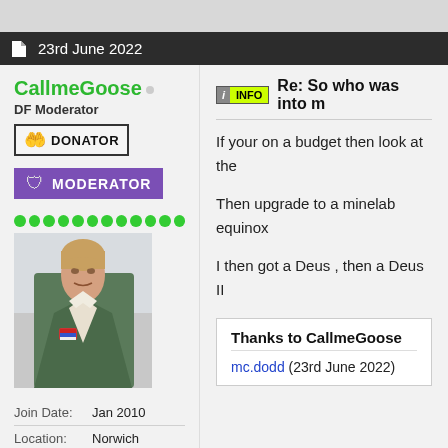23rd June 2022
CallmeGoose
DF Moderator
[Figure (other): DONATOR badge with pixel art hands icon]
[Figure (other): MODERATOR badge with purple background and shield icon]
[Figure (other): User avatar photo of man in green jacket (Maverick from Top Gun)]
| Join Date: | Jan 2010 |
| Location: | Norwich |
| Posts: | 3,534 |
| Thanks: | 2,535 |
| Thanked: | 1,285 |
Re: So who was into m
If your on a budget then look at the
Then upgrade to a minelab equinox
I then got a Deus , then a Deus II
Thanks to CallmeGoose
mc.dodd (23rd June 2022)